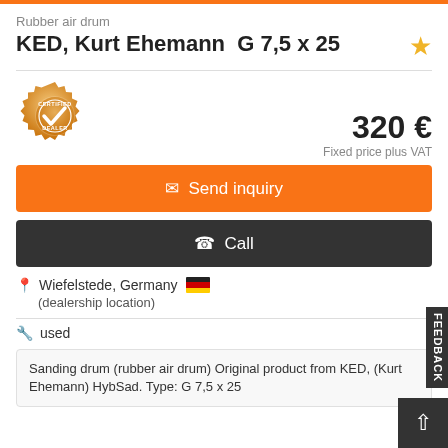Rubber air drum
KED, Kurt Ehemann  G 7,5 x 25
[Figure (logo): Certified Dealer badge - gold gear icon with checkmark]
320 €
Fixed price plus VAT
✉ Send inquiry
✆ Call
Wiefelstede, Germany 🇩🇪
(dealership location)
used
Sanding drum (rubber air drum) Original product from KED, (Kurt Ehemann) HybSad. Type: G 7,5 x 25